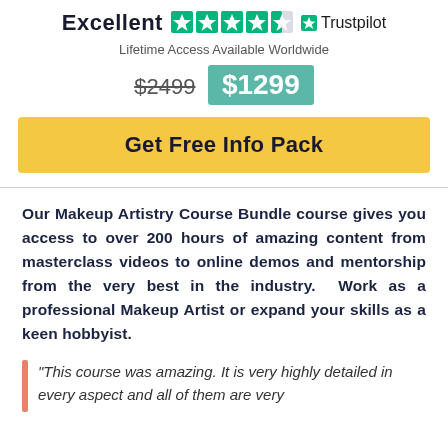[Figure (logo): Trustpilot rating row showing 'Excellent' text, 4.5 green stars, and Trustpilot logo with star icon]
Lifetime Access Available Worldwide
$2499  $1299
Get Free Info Pack
Our Makeup Artistry Course Bundle course gives you access to over 200 hours of amazing content from masterclass videos to online demos and mentorship from the very best in the industry. Work as a professional Makeup Artist or expand your skills as a keen hobbyist.
"This course was amazing. It is very highly detailed in every aspect and all of them are very